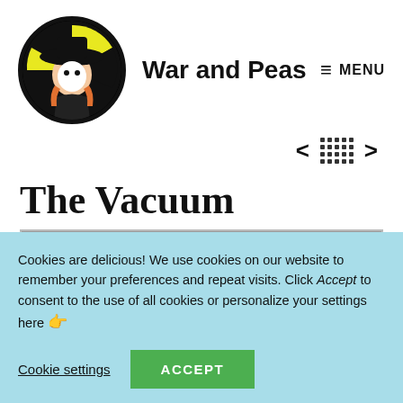[Figure (logo): War and Peas website logo: circular illustration of a girl in a wide-brimmed black hat with yellow and black background]
War and Peas
≡ MENU
< ⠿ >
The Vacuum
[Figure (illustration): Partial comic strip panel with light blue background showing outlined cartoon characters, partially obscured by cookie banner]
Cookies are delicious! We use cookies on our website to remember your preferences and repeat visits. Click Accept to consent to the use of all cookies or personalize your settings here 👉
Cookie settings   ACCEPT